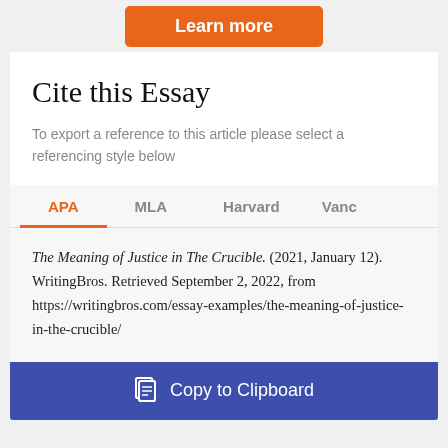[Figure (other): Orange 'Learn more' button at the top of the page]
Cite this Essay
To export a reference to this article please select a referencing style below
APA | MLA | Harvard | Vanc (tab navigation)
The Meaning of Justice in The Crucible. (2021, January 12). WritingBros. Retrieved September 2, 2022, from https://writingbros.com/essay-examples/the-meaning-of-justice-in-the-crucible/
[Figure (other): Blue 'Copy to Clipboard' button at the bottom]